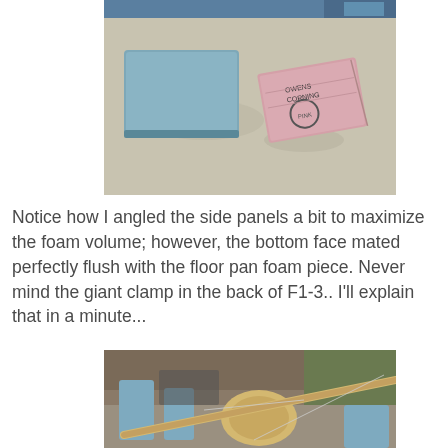[Figure (photo): Two pieces of foam insulation on a workbench. On the left is a blue/grey rectangular foam piece. On the right is a pink foam piece with printed text/logo on it, angled slightly.]
Notice how I angled the side panels a bit to maximize the foam volume; however, the bottom face mated perfectly flush with the floor pan foam piece. Never mind the giant clamp in the back of F1-3.. I'll explain that in a minute...
[Figure (photo): A model aircraft fuselage frame being assembled on a wooden building jig. Blue foam formers and a wooden dowel/stick are visible, along with various tools and parts.]